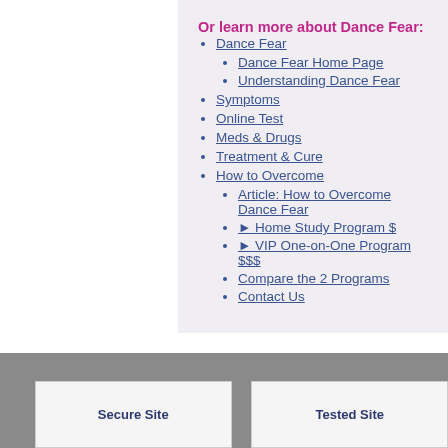Or learn more about Dance Fear:
Dance Fear
Dance Fear Home Page
Understanding Dance Fear
Symptoms
Online Test
Meds & Drugs
Treatment & Cure
How to Overcome
Article: How to Overcome Dance Fear
► Home Study Program $
► VIP One-on-One Program $$$
Compare the 2 Programs
Contact Us
Secure Site    Tested Site    Secu